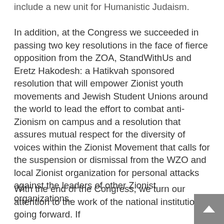include a new unit for Humanistic Judaism.
In addition, at the Congress we succeeded in passing two key resolutions in the face of fierce opposition from the ZOA, StandWithUs and Eretz Hakodesh: a Hatikvah sponsored resolution that will empower Zionist youth movements and Jewish Student Unions around the world to lead the effort to combat anti-Zionism on campus and a resolution that assures mutual respect for the diversity of voices within the Zionist Movement that calls for the suspension or dismissal from the WZO and local Zionist organization for personal attacks against the leaders of other Zionist organizations.
With the end of the Congress, we turn our attention to the work of the national institutions going forward. If